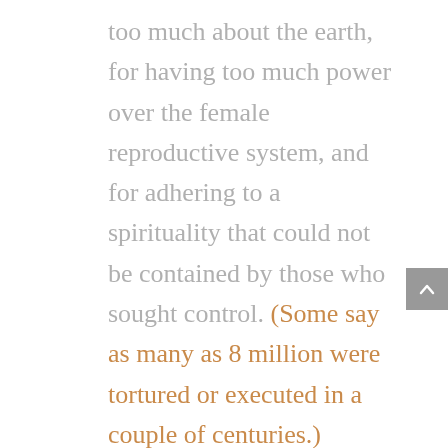too much about the earth, for having too much power over the female reproductive system, and for adhering to a spirituality that could not be contained by those who sought control. (Some say as many as 8 million were tortured or executed in a couple of centuries.)
And so the weed spread, and patriarchy joined hands with racism to mow over anyone in their path and dominate all whose